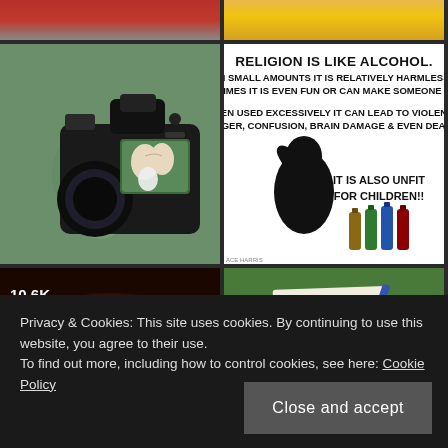[Figure (photo): Partial view of person near red car, bottom portion cropped]
[Figure (photo): Partial view of people in yellow/gold clothing, bottom portion cropped]
[Figure (photo): Wedding photographer holding DSLR camera showing couple kissing on screen, blurred couple in background]
[Figure (infographic): Text meme on white background reading: RELIGION IS LIKE ALCOHOL. IN SMALL AMOUNTS IT IS RELATIVELY HARMLESS, SOMETIMES IT IS EVEN FUN OR CAN MAKE SOMEONE HAPPY. WHEN USED EXCESSIVELY IT CAN LEAD TO VIOLENCE, ANGER, CONFUSION, BRAIN DAMAGE & EVEN DEATH. IT IS ALSO UNFIT FOR CHILDREN!! Silhouette of distressed person with bottles.]
[Figure (photo): Dark reddish-brown blurred image with overlay showing 10.6K count]
[Figure (photo): Paper with handwriting on green outdoor background]
Privacy & Cookies: This site uses cookies. By continuing to use this website, you agree to their use.
To find out more, including how to control cookies, see here: Cookie Policy
Close and accept